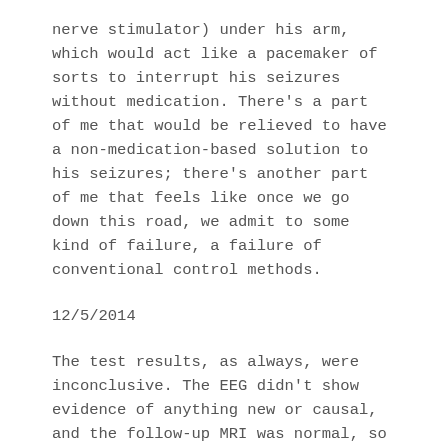nerve stimulator) under his arm, which would act like a pacemaker of sorts to interrupt his seizures without medication. There's a part of me that would be relieved to have a non-medication-based solution to his seizures; there's another part of me that feels like once we go down this road, we admit to some kind of failure, a failure of conventional control methods.
12/5/2014
The test results, as always, were inconclusive. The EEG didn't show evidence of anything new or causal, and the follow-up MRI was normal, so now we look at adjusting his drugs. A new hypothesis is that the polypharmacy–three seizure medications, not counting the